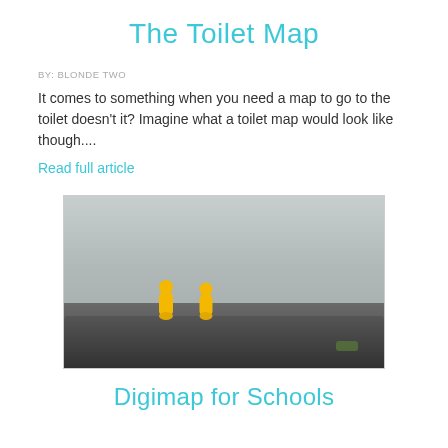The Toilet Map
BY: BLONDE TWO
It comes to something when you need a map to go to the toilet doesn't it? Imagine what a toilet map would look like though....
Read full article
[Figure (photo): Two small yellow figurines sitting on dark rocks with a misty grey landscape in the background]
Digimap for Schools